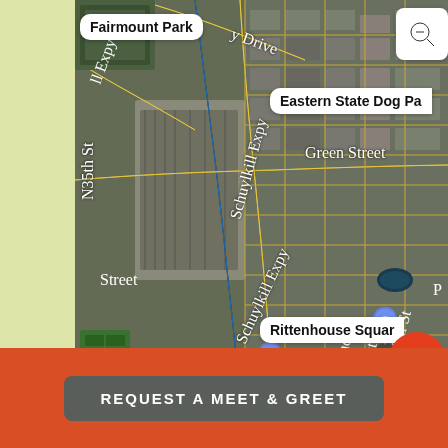[Figure (map): Satellite/aerial map view of Philadelphia showing the Schuylkill River, Fairmount Park area, and surrounding neighborhoods. Map labels include Fairmount Park, Eastern State Dog Park, Green Street, Schuylkill Expy, Rittenhouse Square, and Schuylkill River Dog Park. Two blue map pins are visible. A search (zoom out) button appears top right and a share button bottom right of the map.]
REQUEST A MEET & GREET